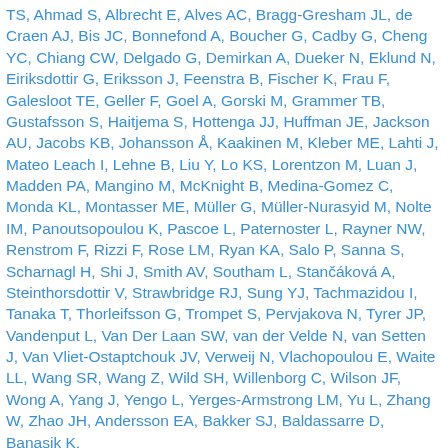TS, Ahmad S, Albrecht E, Alves AC, Bragg-Gresham JL, de Craen AJ, Bis JC, Bonnefond A, Boucher G, Cadby G, Cheng YC, Chiang CW, Delgado G, Demirkan A, Dueker N, Eklund N, Eiriksdottir G, Eriksson J, Feenstra B, Fischer K, Frau F, Galesloot TE, Geller F, Goel A, Gorski M, Grammer TB, Gustafsson S, Haitjema S, Hottenga JJ, Huffman JE, Jackson AU, Jacobs KB, Johansson Å, Kaakinen M, Kleber ME, Lahti J, Mateo Leach I, Lehne B, Liu Y, Lo KS, Lorentzon M, Luan J, Madden PA, Mangino M, McKnight B, Medina-Gomez C, Monda KL, Montasser ME, Müller G, Müller-Nurasyid M, Nolte IM, Panoutsopoulou K, Pascoe L, Paternoster L, Rayner NW, Renstrom F, Rizzi F, Rose LM, Ryan KA, Salo P, Sanna S, Scharnagl H, Shi J, Smith AV, Southam L, Stančáková A, Steinthorsdottir V, Strawbridge RJ, Sung YJ, Tachmazidou I, Tanaka T, Thorleifsson G, Trompet S, Pervjakova N, Tyrer JP, Vandenput L, Van Der Laan SW, van der Velde N, van Setten J, Van Vliet-Ostaptchouk JV, Verweij N, Vlachopoulou E, Waite LL, Wang SR, Wang Z, Wild SH, Willenborg C, Wilson JF, Wong A, Yang J, Yengo L, Yerges-Armstrong LM, Yu L, Zhang W, Zhao JH, Andersson EA, Bakker SJ, Baldassarre D, Banasik K,